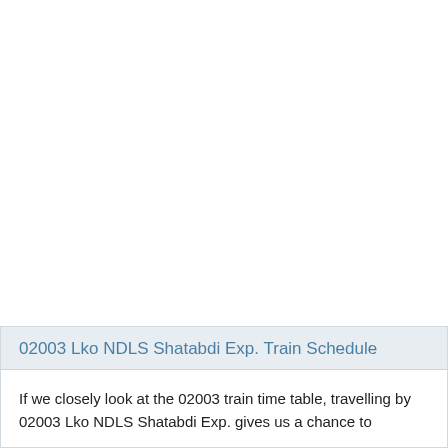02003 Lko NDLS Shatabdi Exp. Train Schedule
If we closely look at the 02003 train time table, travelling by 02003 Lko NDLS Shatabdi Exp. gives us a chance to